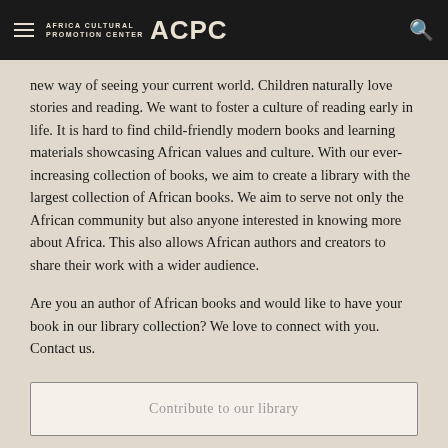AFRICA CULTURAL PROMOTION CENTER ACPC
new way of seeing your current world. Children naturally love stories and reading. We want to foster a culture of reading early in life. It is hard to find child-friendly modern books and learning materials showcasing African values and culture. With our ever-increasing collection of books, we aim to create a library with the largest collection of African books. We aim to serve not only the African community but also anyone interested in knowing more about Africa. This also allows African authors and creators to share their work with a wider audience.
Are you an author of African books and would like to have your book in our library collection? We love to connect with you. Contact us.
Contribute to our library